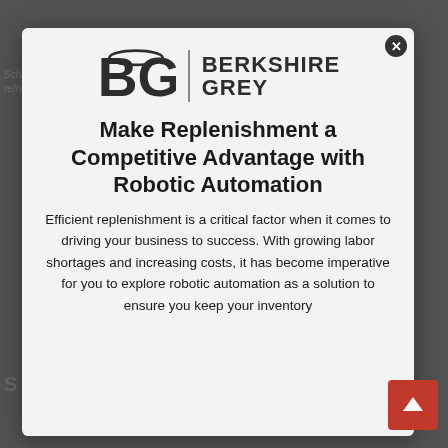[Figure (logo): Berkshire Grey logo with BG monogram and company name]
Make Replenishment a Competitive Advantage with Robotic Automation
Efficient replenishment is a critical factor when it comes to driving your business to success. With growing labor shortages and increasing costs, it has become imperative for you to explore robotic automation as a solution to ensure you keep your inventory